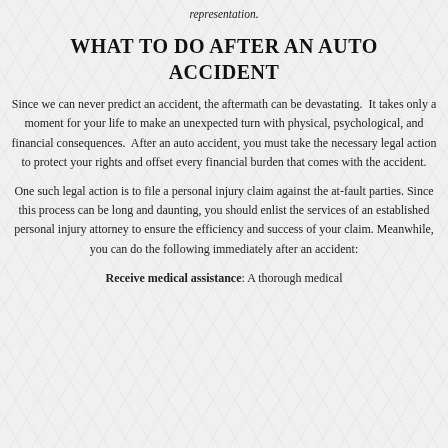representation.
WHAT TO DO AFTER AN AUTO ACCIDENT
Since we can never predict an accident, the aftermath can be devastating. It takes only a moment for your life to make an unexpected turn with physical, psychological, and financial consequences. After an auto accident, you must take the necessary legal action to protect your rights and offset every financial burden that comes with the accident.
One such legal action is to file a personal injury claim against the at-fault parties. Since this process can be long and daunting, you should enlist the services of an established personal injury attorney to ensure the efficiency and success of your claim. Meanwhile, you can do the following immediately after an accident:
Receive medical assistance: A thorough medical